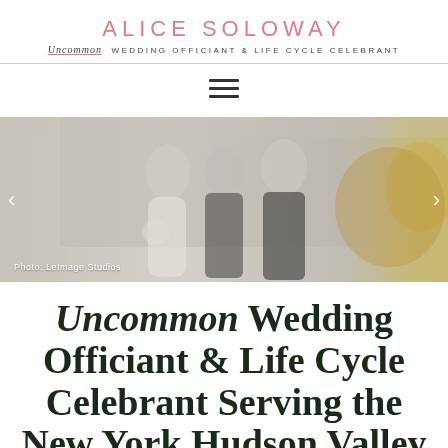ALICE SOLOWAY — Uncommon WEDDING OFFICIANT & LIFE CYCLE CELEBRANT
[Figure (photo): Three people posing together outdoors — a bride in white holding a bouquet, a woman officiant in black, and a groom in a dark suit. Autumn foliage visible in background. Caption reads: Photo: LeImage Studios]
Uncommon Wedding Officiant & Life Cycle Celebrant Serving the New York Hudson Valley